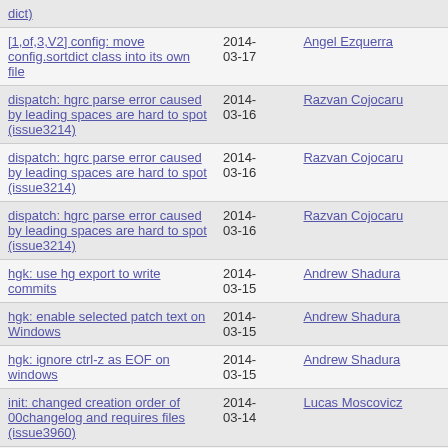| Description | Date | Author |
| --- | --- | --- |
| dict) |  |  |
| [1,of,3,V2] config: move config.sortdict class into its own file | 2014-03-17 | Angel Ezquerra |
| dispatch: hgrc parse error caused by leading spaces are hard to spot (issue3214) | 2014-03-16 | Razvan Cojocaru |
| dispatch: hgrc parse error caused by leading spaces are hard to spot (issue3214) | 2014-03-16 | Razvan Cojocaru |
| dispatch: hgrc parse error caused by leading spaces are hard to spot (issue3214) | 2014-03-16 | Razvan Cojocaru |
| hgk: use hg export to write commits | 2014-03-15 | Andrew Shadura |
| hgk: enable selected patch text on Windows | 2014-03-15 | Andrew Shadura |
| hgk: ignore ctrl-z as EOF on windows | 2014-03-15 | Andrew Shadura |
| init: changed creation order of 00changelog and requires files (issue3960) | 2014-03-14 | Lucas Moscovicz |
| histedit: select the lowest rev when looking for a root in a revset | 2014-03-13 | David Soria Parra |
| [V2] revset: improve head | 2014- | Durham Goode |